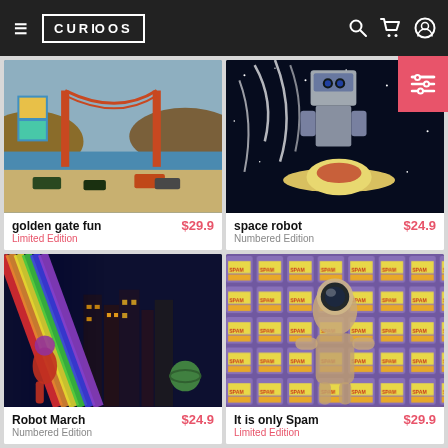CURIOSOS navigation bar with hamburger menu, logo, search, cart, and profile icons
[Figure (screenshot): Filter/sort button (pink/salmon colored button with equalizer icon on right edge)]
[Figure (photo): Golden Gate Bridge artwork - retro collage style with bridge, cars, and colorful background]
golden gate fun
Limited Edition
$29.9
[Figure (photo): Space robot artwork - robot figure on saturn-like planet against dark starry background]
space robot
Numbered Edition
$24.9
[Figure (photo): Robot March artwork - retro sci-fi city scene with rainbow beams and figures]
Robot March
Numbered Edition
$24.9
[Figure (photo): It is only Spam artwork - astronaut figure surrounded by repeating SPAM can pattern]
It is only Spam
Limited Edition
$29.9